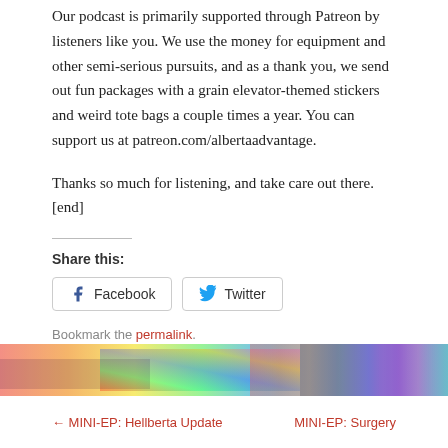Our podcast is primarily supported through Patreon by listeners like you. We use the money for equipment and other semi-serious pursuits, and as a thank you, we send out fun packages with a grain elevator-themed stickers and weird tote bags a couple times a year. You can support us at patreon.com/albertaadvantage.
Thanks so much for listening, and take care out there. [end]
Share this:
Facebook  Twitter
Bookmark the permalink.
[Figure (photo): Colorful abstract banner image with rainbow-like streaks]
← MINI-EP: Hellberta Update
MINI-EP: Surgery